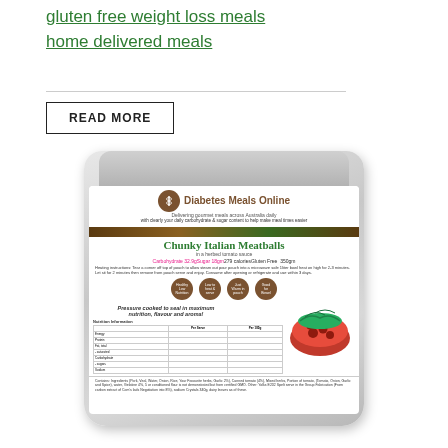gluten free weight loss meals
home delivered meals
READ MORE
[Figure (photo): Product packaging for Diabetes Meals Online - Chunky Italian Meatballs in a herbed tomato sauce. Silver/grey stand-up pouch with white label showing brand logo, product name, nutritional info (Carbohydrate 32.9g, Sugar 18gm, 279 calories, Gluten Free, 350gm), cooking instructions, feature icons, nutrition table, and a photo of the meal.]